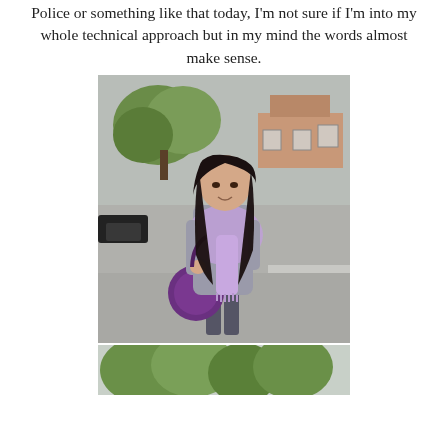Police or something like that today, I'm not sure if I'm into my whole technical approach but in my mind the words almost make sense.
[Figure (photo): Young woman with long dark hair, wearing a grey cardigan and a light purple/lavender scarf, carrying a purple handbag. She is standing on a suburban street with trees and brick houses in the background. The photo is taken outdoors on an overcast day.]
[Figure (photo): Partial view of another outdoor photo, showing trees at the top of the frame, cut off at the bottom of the page.]